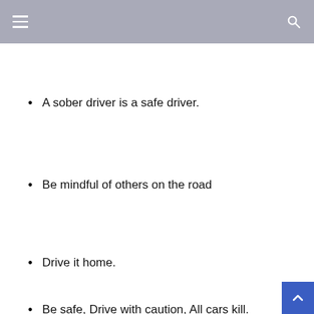A sober driver is a safe driver.
Be mindful of others on the road
Drive it home.
Be safe, Drive with caution, All cars kill.